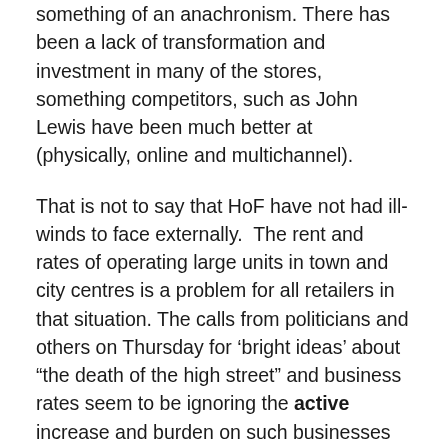something of an anachronism. There has been a lack of transformation and investment in many of the stores, something competitors, such as John Lewis have been much better at (physically, online and multichannel).
That is not to say that HoF have not had ill-winds to face externally.  The rent and rates of operating large units in town and city centres is a problem for all retailers in that situation. The calls from politicians and others on Thursday for ‘bright ideas’ about “the death of the high street” and business rates seem to be ignoring the active increase and burden on such businesses placed by government and a total failure to view the need for a more level ‘playing field’ between physical and online retailing (and if we value towns and cities, in town and out of town).  Hand-wringing by governments and politicians over the health of the high street and closures such as HoF are